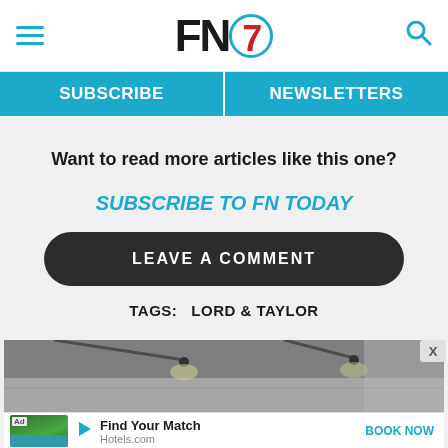FN7 — Footwear News
SUBSCRIBE | NEWSLETTERS
Want to read more articles like this one?
SUBSCRIBE TO FN TODAY
LEAVE A COMMENT
TAGS:   LORD & TAYLOR
[Figure (photo): Advertisement photo of a modern interior with track lighting on a concrete ceiling, with an ad bar below showing Hotels.com Find Your Match promotion]
Find Your Match
Hotels.com
BOOK NOW